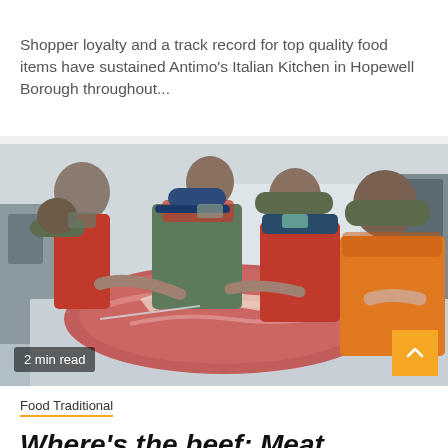Shopper loyalty and a track record for top quality food items have sustained Antimo’s Italian Kitchen in Hopewell Borough throughout...
[Figure (photo): Four workers in red aprons and caps cutting and butchering a large piece of raw meat on a table in a commercial kitchen setting. Text overlay '2 min read' at bottom left.]
Food Traditional
Where’s the beef: Meat lockers...